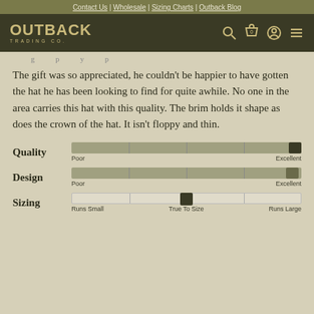Contact Us | Wholesale | Sizing Charts | Outback Blog
[Figure (logo): Outback Trading Co. logo with navigation icons (search, cart, account, menu)]
The gift was so appreciated, he couldn't be happier to have gotten the hat he has been looking to find for quite awhile. No one in the area carries this hat with this quality. The brim holds it shape as does the crown of the hat. It isn't floppy and thin.
[Figure (infographic): Three rating sliders: Quality (Poor to Excellent, thumb near Excellent), Design (Poor to Excellent, thumb near Excellent), Sizing (Runs Small to Runs Large, thumb at True To Size/middle)]